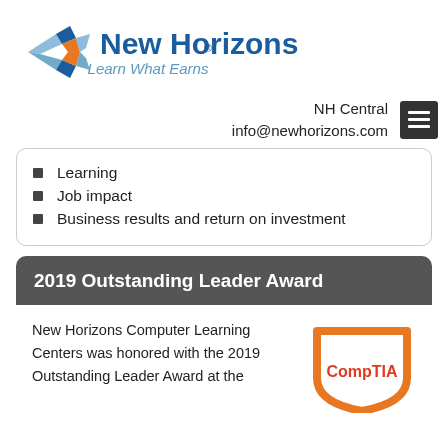[Figure (logo): New Horizons logo with tagline 'Learn What Earns']
NH Central
info@newhorizons.com
Learning
Job impact
Business results and return on investment
2019 Outstanding Leader Award
New Horizons Computer Learning Centers was honored with the 2019 Outstanding Leader Award at the
[Figure (logo): CompTIA shield logo in orange]